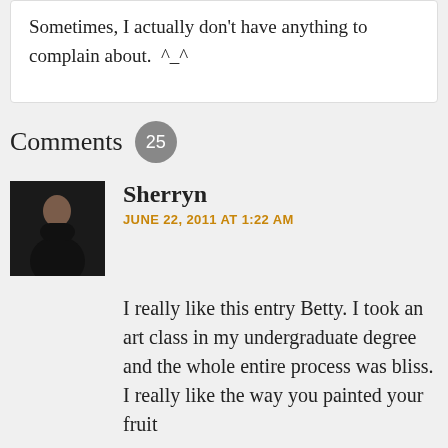Sometimes, I actually don't have anything to complain about.  ^_^
Comments 25
[Figure (photo): Profile photo of Sherryn, a woman in a black dress against a dark background]
Sherryn
JUNE 22, 2011 AT 1:22 AM
I really like this entry Betty. I took an art class in my undergraduate degree and the whole entire process was bliss. I really like the way you painted your fruit